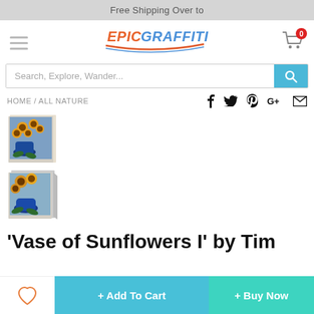Free Shipping Over to
[Figure (logo): Epic Graffiti logo with stylized text and swoosh]
Search, Explore, Wander...
HOME / ALL NATURE
[Figure (photo): Sunflower vase painting thumbnail 1 - canvas art showing sunflowers in blue vase]
[Figure (photo): Sunflower vase painting thumbnail 2 - canvas art showing sunflowers in blue vase angle view]
'Vase of Sunflowers I' by Tim
+ Add To Cart
+ Buy Now